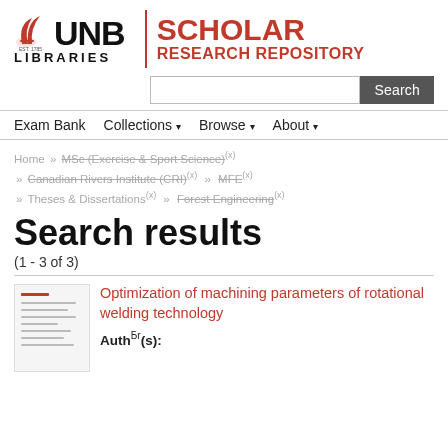[Figure (logo): UNB Libraries | Scholar Research Repository logo with red wing symbol and red text]
[Figure (screenshot): Search input box and Search button]
Exam Bank   Collections   Browse   About
Home » MSc (Exercise & Sport Science)(x) » Canadian Rivers Institute (CRI)(x) » MFE(x) » Theses & Dissertations(x) » Forest Engineering(x)
Search results
(1 - 3 of 3)
Optimization of machining parameters of rotational welding technology
Author(s):